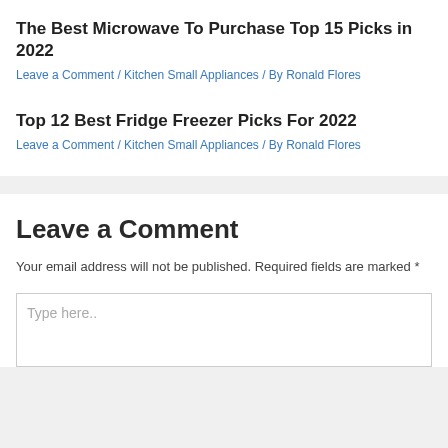The Best Microwave To Purchase Top 15 Picks in 2022
Leave a Comment / Kitchen Small Appliances / By Ronald Flores
Top 12 Best Fridge Freezer Picks For 2022
Leave a Comment / Kitchen Small Appliances / By Ronald Flores
Leave a Comment
Your email address will not be published. Required fields are marked *